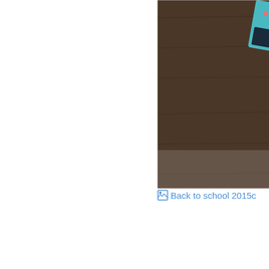[Figure (photo): A photo of back to school supplies including a calculator, notebooks, and stickers on a wooden surface. The image includes a watermark text 'Designed By: Treasa Cimcrose for [logo]' in the lower portion.]
Back to school 2015c